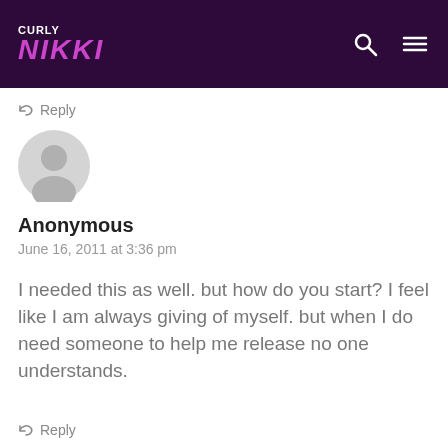CURLY NIKKI
↪ Reply
[Figure (illustration): Gray anonymous user avatar circle icon]
Anonymous
June 16, 2011 at 3:36 pm
I needed this as well. but how do you start? I feel like I am always giving of myself. but when I do need someone to help me release no one understands.
↪ Reply